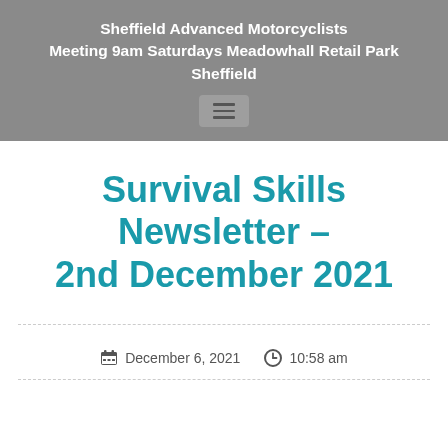Sheffield Advanced Motorcyclists Meeting 9am Saturdays Meadowhall Retail Park Sheffield
Survival Skills Newsletter – 2nd December 2021
December 6, 2021  10:58 am